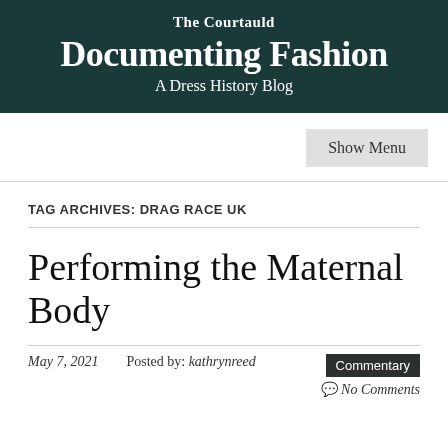The Courtauld
Documenting Fashion
A Dress History Blog
Show Menu
TAG ARCHIVES: DRAG RACE UK
Performing the Maternal Body
May 7, 2021   Posted by: kathrynreed   Commentary   No Comments